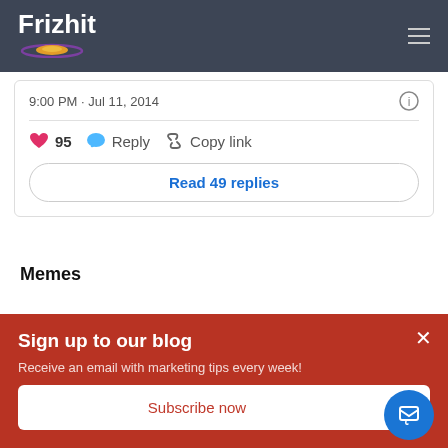Frizhit
9:00 PM · Jul 11, 2014
95  Reply  Copy link
Read 49 replies
Memes
In line with the GIFs and the informal ways to communicate
Sign up to our blog
Receive an email with marketing tips every week!
Subscribe now